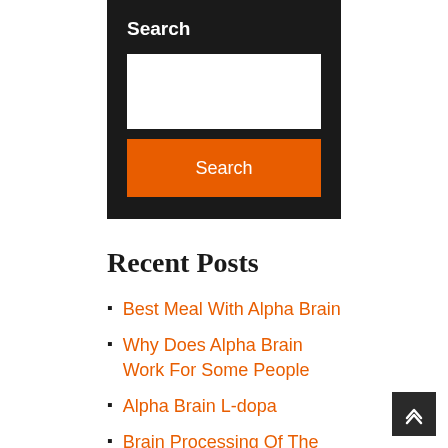Search
[Figure (screenshot): Search input text box (white rectangle)]
Search
Recent Posts
Best Meal With Alpha Brain
Why Does Alpha Brain Work For Some People
Alpha Brain L-dopa
Brain Processing Of The Protein Alpha-synuclein